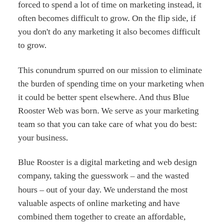forced to spend a lot of time on marketing instead, it often becomes difficult to grow. On the flip side, if you don't do any marketing it also becomes difficult to grow.
This conundrum spurred on our mission to eliminate the burden of spending time on your marketing when it could be better spent elsewhere. And thus Blue Rooster Web was born. We serve as your marketing team so that you can take care of what you do best: your business.
Blue Rooster is a digital marketing and web design company, taking the guesswork – and the wasted hours – out of your day. We understand the most valuable aspects of online marketing and have combined them together to create an affordable, monthly subscription service built specifically to